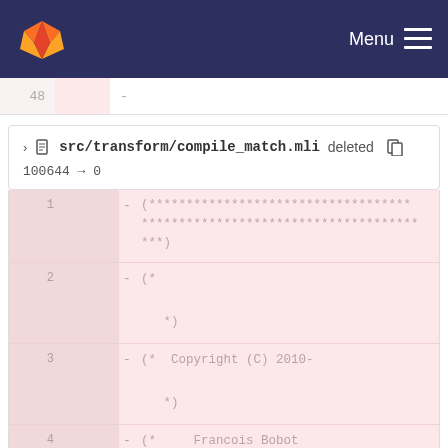GitLab — Menu
48  -
src/transform/compile_match.mli deleted
100644 → 0
1  - (***********************************
*************************************
***)
2  - (*

   *)
3  - (*  Copyright (C) 2010-

   *)
4  - (*    Francois Bobot

   *)
5  - (*    Jean-Christophe Filliatre

   *)